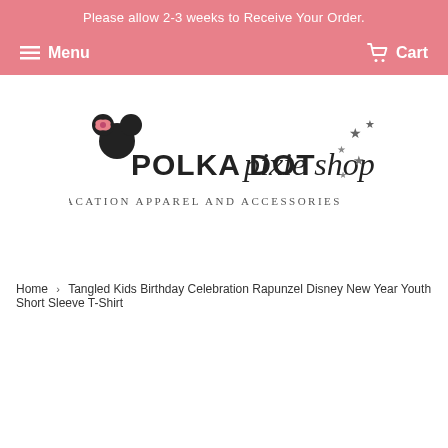Please allow 2-3 weeks to Receive Your Order.
Menu  Cart
[Figure (logo): Polka Dot Pixie Shop logo — Disney Vacation Apparel and Accessories]
Home › Tangled Kids Birthday Celebration Rapunzel Disney New Year Youth Short Sleeve T-Shirt